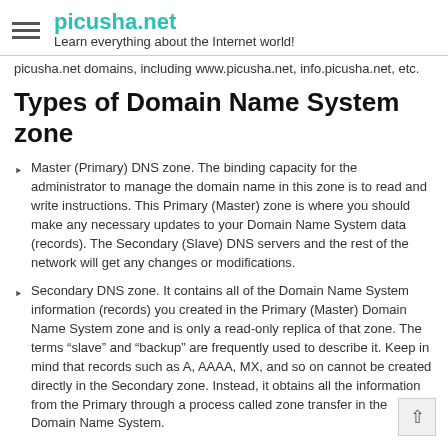picusha.net — Learn everything about the Internet world!
picusha.net domains, including www.picusha.net, info.picusha.net, etc.
Types of Domain Name System zone
Master (Primary) DNS zone. The binding capacity for the administrator to manage the domain name in this zone is to read and write instructions. This Primary (Master) zone is where you should make any necessary updates to your Domain Name System data (records). The Secondary (Slave) DNS servers and the rest of the network will get any changes or modifications.
Secondary DNS zone. It contains all of the Domain Name System information (records) you created in the Primary (Master) Domain Name System zone and is only a read-only replica of that zone. The terms “slave” and “backup” are frequently used to describe it. Keep in mind that records such as A, AAAA, MX, and so on cannot be created directly in the Secondary zone. Instead, it obtains all the information from the Primary through a process called zone transfer in the Domain Name System.